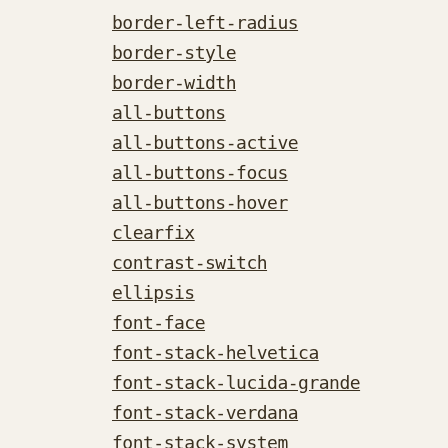border-left-radius
border-style
border-width
all-buttons
all-buttons-active
all-buttons-focus
all-buttons-hover
clearfix
contrast-switch
ellipsis
font-face
font-stack-helvetica
font-stack-lucida-grande
font-stack-verdana
font-stack-system
font-stack-garamond
font-stack-georgia